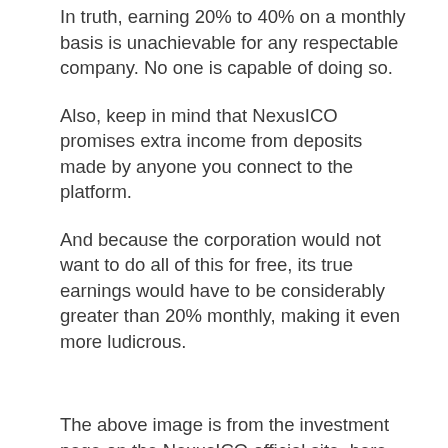In truth, earning 20% to 40% on a monthly basis is unachievable for any respectable company. No one is capable of doing so.
Also, keep in mind that NexusICO promises extra income from deposits made by anyone you connect to the platform.
And because the corporation would not want to do all of this for free, its true earnings would have to be considerably greater than 20% monthly, making it even more ludicrous.
The above image is from the investment page on the NexusICO official site, here you will find the investment plans & packages the NexusICO investment platform offer...